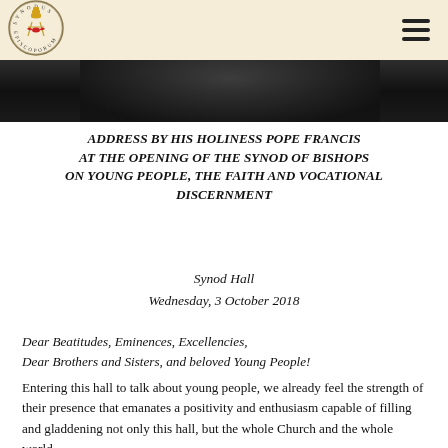[Figure (logo): Synodus Episcoporum circular seal/logo with yellow and red coat of arms]
[Figure (photo): Dark photographic strip showing partial view of a person, cropped]
ADDRESS BY HIS HOLINESS POPE FRANCIS AT THE OPENING OF THE SYNOD OF BISHOPS ON YOUNG PEOPLE, THE FAITH AND VOCATIONAL DISCERNMENT
Synod Hall
Wednesday, 3 October 2018
Dear Beatitudes, Eminences, Excellencies,
Dear Brothers and Sisters, and beloved Young People!
Entering this hall to talk about young people, we already feel the strength of their presence that emanates a positivity and enthusiasm capable of filling and gladdening not only this hall, but the whole Church and the whole world.